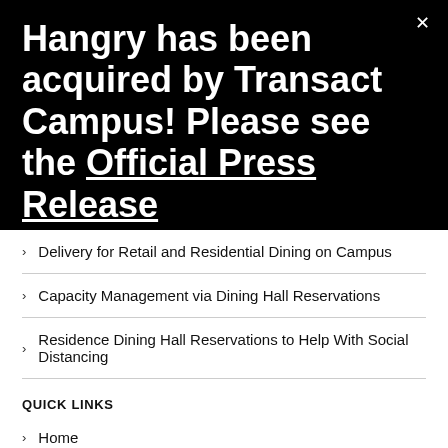Hangry has been acquired by Transact Campus! Please see the Official Press Release
Delivery for Retail and Residential Dining on Campus
Capacity Management via Dining Hall Reservations
Residence Dining Hall Reservations to Help With Social Distancing
QUICK LINKS
Home
Request Demo